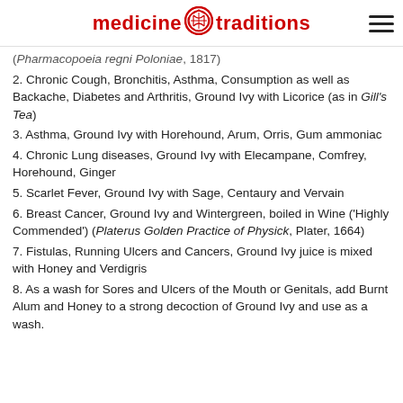medicine traditions
(Pharmacopoeia regni Poloniae, 1817)
2. Chronic Cough, Bronchitis, Asthma, Consumption as well as Backache, Diabetes and Arthritis, Ground Ivy with Licorice (as in Gill's Tea)
3. Asthma, Ground Ivy with Horehound, Arum, Orris, Gum ammoniac
4. Chronic Lung diseases, Ground Ivy with Elecampane, Comfrey, Horehound, Ginger
5. Scarlet Fever, Ground Ivy with Sage, Centaury and Vervain
6. Breast Cancer, Ground Ivy and Wintergreen, boiled in Wine ('Highly Commended') (Platerus Golden Practice of Physick, Plater, 1664)
7. Fistulas, Running Ulcers and Cancers, Ground Ivy juice is mixed with Honey and Verdigris
8. As a wash for Sores and Ulcers of the Mouth or Genitals, add Burnt Alum and Honey to a strong decoction of Ground Ivy and use as a wash.